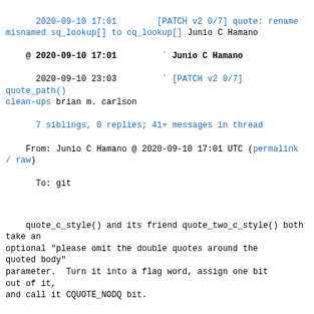2020-09-10 17:01        [PATCH v2 0/7] quote: rename misnamed sq_lookup[] to cq_lookup[] Junio C Hamano
@ 2020-09-10 17:01        Junio C Hamano
  2020-09-10 23:03      ` [PATCH v2 0/7] quote_path() clean-ups brian m. carlson
  7 siblings, 0 replies; 41+ messages in thread
From: Junio C Hamano @ 2020-09-10 17:01 UTC (permalink / raw)
  To: git
quote_c_style() and its friend quote_two_c_style() both take an
optional "please omit the double quotes around the quoted body"
parameter.  Turn it into a flag word, assign one bit out of it,
and call it CQUOTE_NODQ bit.
No behaviour change intended.
Signed-off-by: Junio C Hamano <gitster@pobox.com>
---
 diff.c  |  8 ++++----
 quote.c | 18 ++++++++++--------
 quote.h |  7 ++++--
 3 files changed, 20 insertions(+), 13 deletions(-)
diff --git a/diff.c b/diff.c
index 0299a73079..e7d6e60b23 100644
--- a/diff.c
+++ b/diff.c